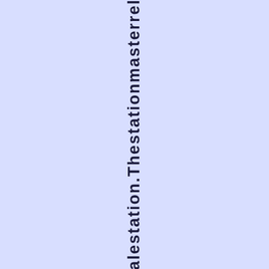alestation.Thestationmasterrel